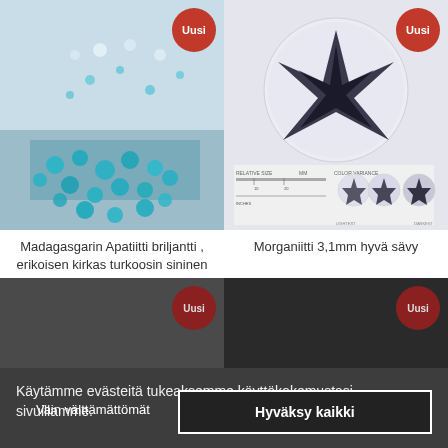[Figure (photo): Scattered small bright turquoise/blue gem stones on a white surface, with 'Uusi' (New) badge in red circle top-right]
[Figure (photo): Close-up of a dark morganite gemstone with relative size ruler and color variance chart, with 'Uusi' badge in red circle]
Madagasgarin Apatiitti briljantti , erikoisen kirkas turkoosin sininen
Morganiitti 3,1mm hyvä sävy
3,90 €
10,50 €
[Figure (photo): Partially visible bottom-left product image with Uusi badge, obscured by cookie banner]
[Figure (photo): Partially visible bottom-right product image with Uusi badge, obscured by cookie banner]
Käytämme evästeitä tukeaksemme käyttökokemustasi sivuillamme.
Vain välttämättömät
Hyväksy kaikki